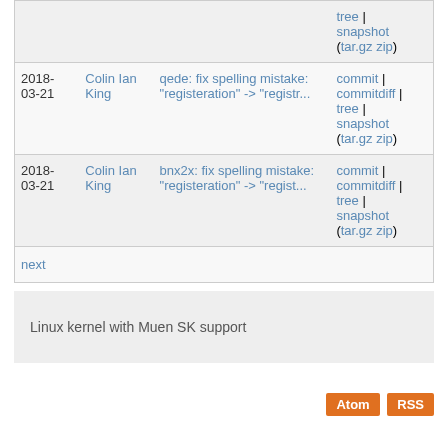| Date | Author | Commit | Actions |
| --- | --- | --- | --- |
|  |  | tree | snapshot (tar.gz zip) |  |
| 2018-03-21 | Colin Ian King | qede: fix spelling mistake: "registeration" -> "registr... | commit | commitdiff | tree | snapshot (tar.gz zip) |
| 2018-03-21 | Colin Ian King | bnx2x: fix spelling mistake: "registeration" -> "regist... | commit | commitdiff | tree | snapshot (tar.gz zip) |
| next |  |  |  |
Linux kernel with Muen SK support
Atom  RSS